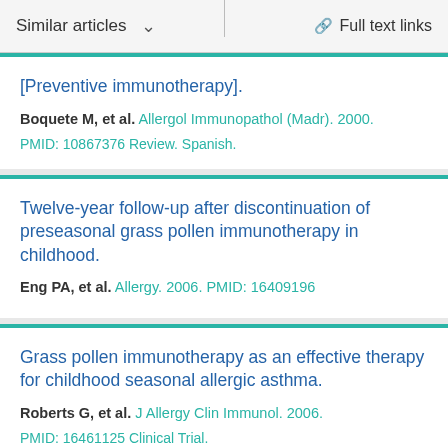Similar articles   ∨      Full text links
[Preventive immunotherapy].
Boquete M, et al. Allergol Immunopathol (Madr). 2000.
PMID: 10867376 Review. Spanish.
Twelve-year follow-up after discontinuation of preseasonal grass pollen immunotherapy in childhood.
Eng PA, et al. Allergy. 2006. PMID: 16409196
Grass pollen immunotherapy as an effective therapy for childhood seasonal allergic asthma.
Roberts G, et al. J Allergy Clin Immunol. 2006.
PMID: 16461125 Clinical Trial.